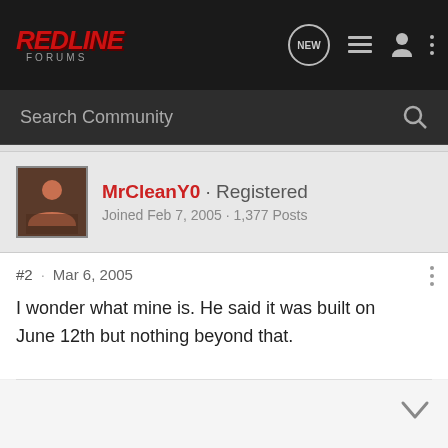[Figure (logo): RedLine Forums logo - red italic bold text with FORUMS subtitle]
Search Community
MrCleanY0 · Registered
Joined Feb 7, 2005 · 1,377 Posts
#2 · Mar 6, 2005
I wonder what mine is. He said it was built on June 12th but nothing beyond that.